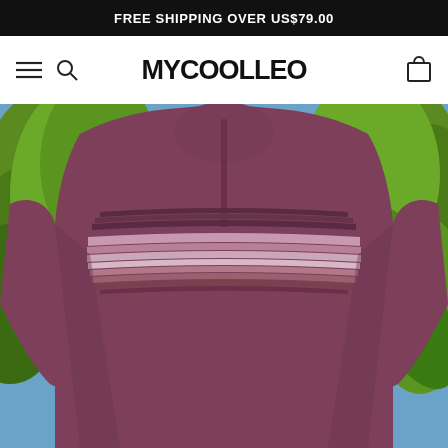FREE SHIPPING OVER US$79.00
[Figure (logo): MYCOOLLEC brand logo text in bold black font centered in navigation bar, with hamburger menu icon and search icon on the left, and shopping bag icon on the right]
[Figure (photo): Person wearing a mauve/burgundy quarter-zip pullover sweatshirt with horizontal stripe pattern across the chest, photographed from behind against a green tropical plant background with blue sky]